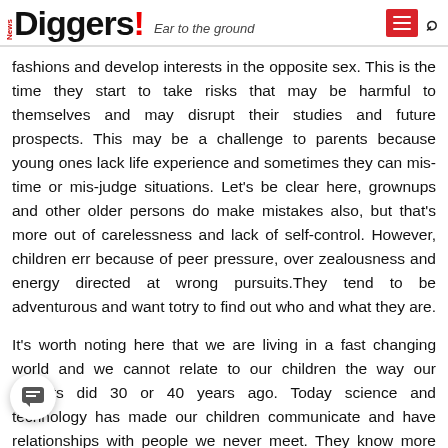News Diggers! Ear to the ground
fashions and develop interests in the opposite sex. This is the time they start to take risks that may be harmful to themselves and may disrupt their studies and future prospects. This may be a challenge to parents because young ones lack life experience and sometimes they can mis-time or mis-judge situations. Let's be clear here, grownups and other older persons do make mistakes also, but that's more out of carelessness and lack of self-control. However, children err because of peer pressure, over zealousness and energy directed at wrong pursuits.They tend to be adventurous and want totry to find out who and what they are.
It's worth noting here that we are living in a fast changing world and we cannot relate to our children the way our parents did 30 or 40 years ago. Today science and technology has made our children communicate and have relationships with people we never meet. They know more than we think; and trying to raise them as our parents did, could be another challenge. This